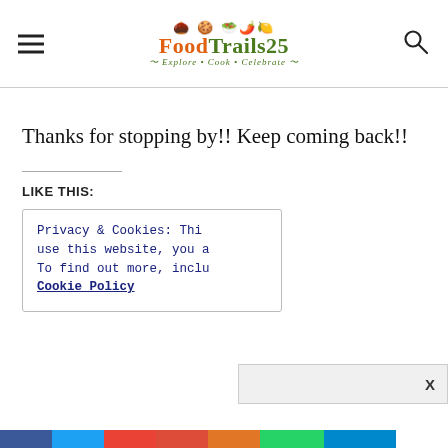[Figure (logo): FoodTrails25 logo with food emoji icons, green bold text, orange accents, tagline 'Explore · Cook · Celebrate']
Thanks for stopping by!! Keep coming back!!
LIKE THIS:
Privacy & Cookies: Thi
use this website, you a
To find out more, inclu
Cookie Policy